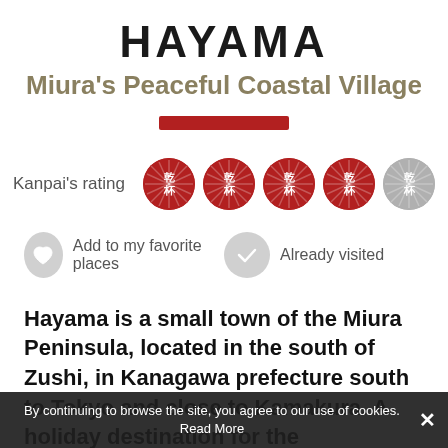HAYAMA
Miura's Peaceful Coastal Village
[Figure (other): Red horizontal decorative bar divider]
Kanpai's rating — 4 out of 5 filled cups
Add to my favorite places   Already visited
Hayama is a small town of the Miura Peninsula, located in the south of Zushi, in Kanagawa prefecture south to Tokyo and close to Kamakura. A holiday destination for the
By continuing to browse the site, you agree to our use of cookies. Read More